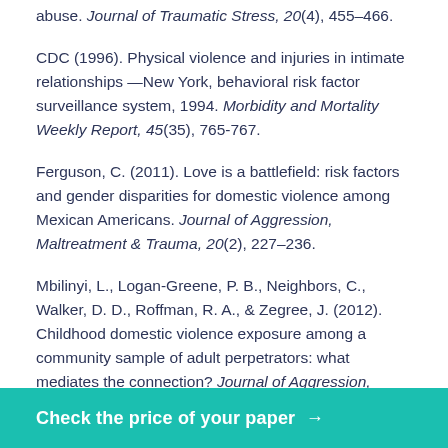abuse. Journal of Traumatic Stress, 20(4), 455–466.
CDC (1996). Physical violence and injuries in intimate relationships —New York, behavioral risk factor surveillance system, 1994. Morbidity and Mortality Weekly Report, 45(35), 765-767.
Ferguson, C. (2011). Love is a battlefield: risk factors and gender disparities for domestic violence among Mexican Americans. Journal of Aggression, Maltreatment & Trauma, 20(2), 227–236.
Mbilinyi, L., Logan-Greene, P. B., Neighbors, C., Walker, D. D., Roffman, R. A., & Zegree, J. (2012). Childhood domestic violence exposure among a community sample of adult perpetrators: what mediates the connection? Journal of Aggression, Maltreatment &
Check the price of your paper →